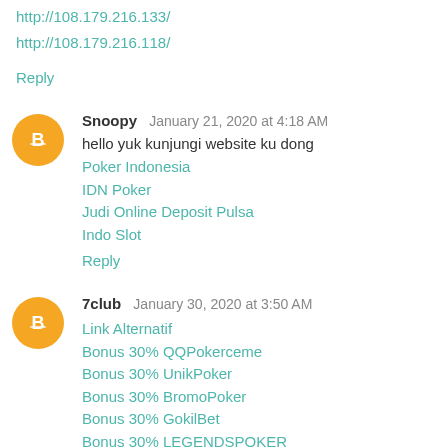http://108.179.216.133/
http://108.179.216.118/
Reply
Snoopy  January 21, 2020 at 4:18 AM
hello yuk kunjungi website ku dong
Poker Indonesia
IDN Poker
Judi Online Deposit Pulsa
Indo Slot
Reply
7club  January 30, 2020 at 3:50 AM
Link Alternatif
Bonus 30% QQPokerceme
Bonus 30% UnikPoker
Bonus 30% BromoPoker
Bonus 30% GokilBet
Bonus 30% LEGENDSPOKER